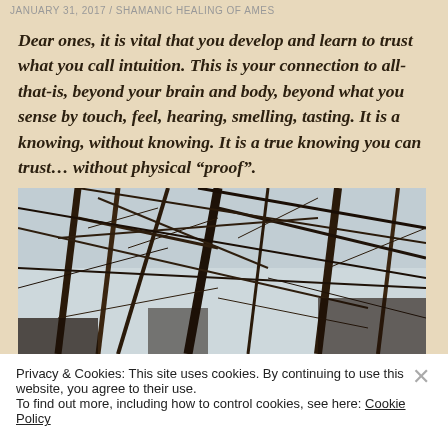JANUARY 31, 2017 / SHAMANIC HEALING OF AMES
Dear ones, it is vital that you develop and learn to trust what you call intuition. This is your connection to all-that-is, beyond your brain and body, beyond what you sense by touch, feel, hearing, smelling, tasting. It is a knowing, without knowing. It is a true knowing you can trust... without physical “proof”.
[Figure (photo): Close-up photograph of bare winter tree branches against a light sky, dark twigs and branches in abstract tangle]
Privacy & Cookies: This site uses cookies. By continuing to use this website, you agree to their use.
To find out more, including how to control cookies, see here: Cookie Policy
Close and accept